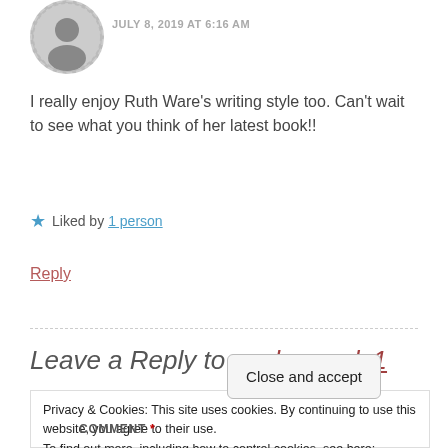[Figure (photo): Circular avatar photo with dashed border showing a person]
JULY 8, 2019 AT 6:16 AM
I really enjoy Ruth Ware's writing style too. Can't wait to see what you think of her latest book!!
★ Liked by 1 person
Reply
Leave a Reply to evelynreads1
Privacy & Cookies: This site uses cookies. By continuing to use this website, you agree to their use.
To find out more, including how to control cookies, see here: Cookie Policy
Close and accept
COMMENT *